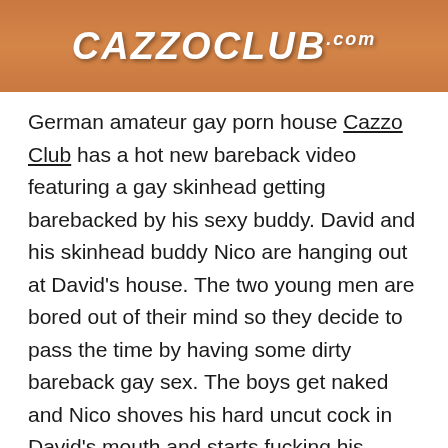[Figure (photo): Banner image with orange background showing the Cazzo Club logo text in white italic bold font with '.com' suffix]
German amateur gay porn house Cazzo Club has a hot new bareback video featuring a gay skinhead getting barebacked by his sexy buddy.  David and his skinhead buddy Nico are hanging out at David's house.  The two young men are bored out of their mind so they decide to pass the time by having some dirty bareback gay sex.  The boys get naked and Nico shoves his hard uncut cock in David's mouth and starts fucking his friends face.  David loves Nico's cock and starts sucking away.  The guys start making out and it's David's turn to get his uncut cock sucked on.  Nico does a good job of giving him a deep blowjob.  He works his tongue all over the shaft of his uncut cock and down to his balls.  Nico lifts David's legs in the air and starts rimming his tight ass.  He darts his tongue in and of that sweet hole.  David has other thing in mind however, because getting rimmed has made his cock